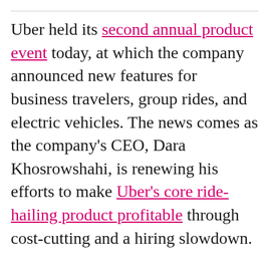Uber held its second annual product event today, at which the company announced new features for business travelers, group rides, and electric vehicles. The news comes as the company's CEO, Dara Khosrowshahi, is renewing his efforts to make Uber's core ride-hailing product profitable through cost-cutting and a hiring slowdown.